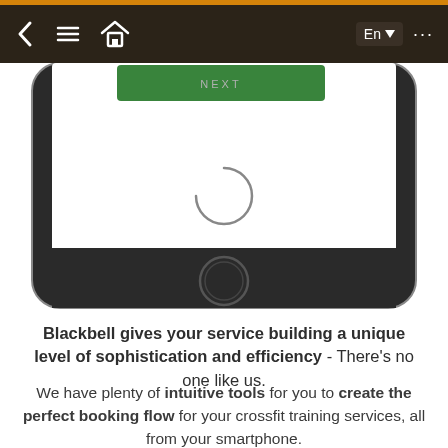[Figure (screenshot): Screenshot of a mobile app interface showing a phone mockup with a dark navigation bar containing back, menu, and home icons, a language selector showing 'En' with dropdown, and a NEXT green button. The phone body is shown with a home button at the bottom.]
Blackbell gives your service building a unique level of sophistication and efficiency - There's no one like us.
We have plenty of intuitive tools for you to create the perfect booking flow for your crossfit training services, all from your smartphone.